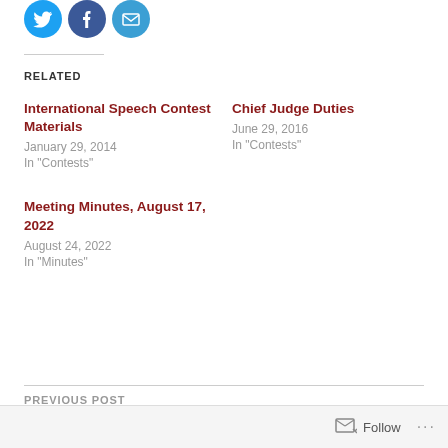[Figure (illustration): Three circular social share icons: Twitter (blue bird), Facebook (blue f), Email (blue envelope)]
RELATED
International Speech Contest Materials
January 29, 2014
In "Contests"
Chief Judge Duties
June 29, 2016
In "Contests"
Meeting Minutes, August 17, 2022
August 24, 2022
In "Minutes"
PREVIOUS POST